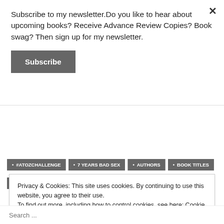Subscribe to my newsletter.Do you like to hear about upcoming books? Receive Advance Review Copies? Book swag? Then sign up for my newsletter.
Subscribe
• #ATOZCHALLENGE
• 7 YEARS BAD SEX
• AUTHORS
• BOOK TITLES
• NICKY WELLS
Privacy & Cookies: This site uses cookies. By continuing to use this website, you agree to their use.
To find out more, including how to control cookies, see here: Cookie Policy
Close and accept
Search ...